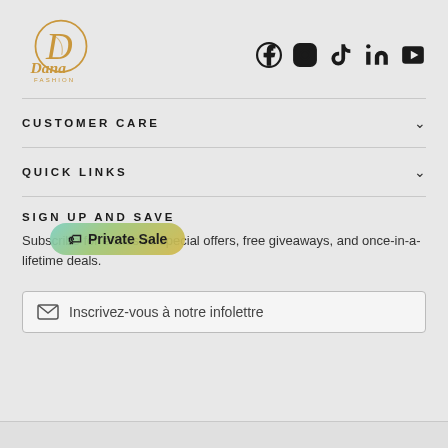[Figure (logo): Dana Fashion logo with stylized D initial and 'Dana FASHION' text in gold]
[Figure (infographic): Social media icons: Facebook, Instagram, TikTok, LinkedIn, YouTube]
CUSTOMER CARE
QUICK LINKS
SIGN UP AND SAVE
[Figure (other): Private Sale badge with tag icon and teal-green gradient background]
Subscribe for exclusive special offers, free giveaways, and once-in-a-lifetime deals.
Inscrivez-vous à notre infolettre